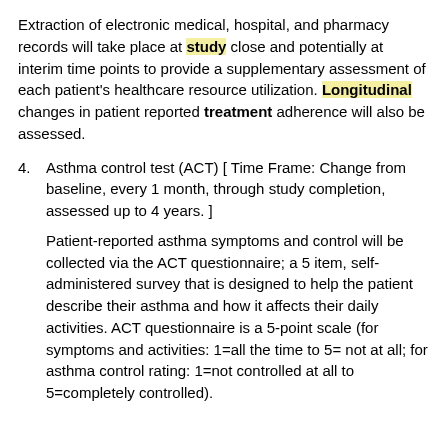Extraction of electronic medical, hospital, and pharmacy records will take place at study close and potentially at interim time points to provide a supplementary assessment of each patient's healthcare resource utilization. Longitudinal changes in patient reported treatment adherence will also be assessed.
4. Asthma control test (ACT) [ Time Frame: Change from baseline, every 1 month, through study completion, assessed up to 4 years. ]
Patient-reported asthma symptoms and control will be collected via the ACT questionnaire; a 5 item, self-administered survey that is designed to help the patient describe their asthma and how it affects their daily activities. ACT questionnaire is a 5-point scale (for symptoms and activities: 1=all the time to 5= not at all; for asthma control rating: 1=not controlled at all to 5=completely controlled).